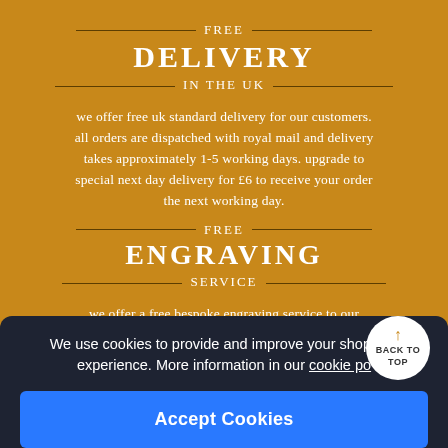FREE DELIVERY IN THE UK
we offer free uk standard delivery for our customers. all orders are dispatched with royal mail and delivery takes approximately 1-5 working days. upgrade to special next day delivery for £6 to receive your order the next working day.
FREE ENGRAVING SERVICE
we offer a free bespoke engraving service to our pocket watch customers. our engraver has over 30 years of experience and is happy to help and advise customers to ensure their sentiment is engraved with a well-balanced concise inscription.
We use cookies to provide and improve your shopping experience. More information in our cookie po...
Accept Cookies